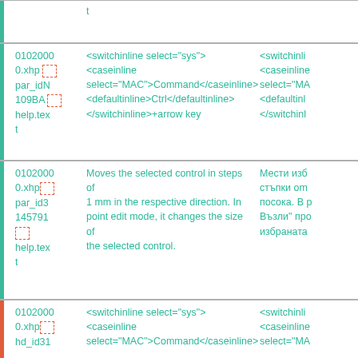| ID | English | Bulgarian |
| --- | --- | --- |
| (partial) | t |  |
| 0102000
0.xhp
par_idN
109BA
help.tex
t | <switchinline select="sys">
<caseinline
select="MAC">Command</caseinline>
<defaultinline>Ctrl</defaultinline>
</switchinline>+arrow key | <switchinli
<caseinline
select="MA
<defaultinl
</switchinl |
| 0102000
0.xhp
par_id3
145791
help.tex
t | Moves the selected control in steps of 1 mm in the respective direction. In point edit mode, it changes the size of the selected control. | Мести изб
стъпки om
посока. В р
Възли" про
избраната |
| 0102000
0.xhp
hd_id31 | <switchinline select="sys">
<caseinline
select="MAC">Command</caseinline> | <switchinli
<caseinline
select="MA |